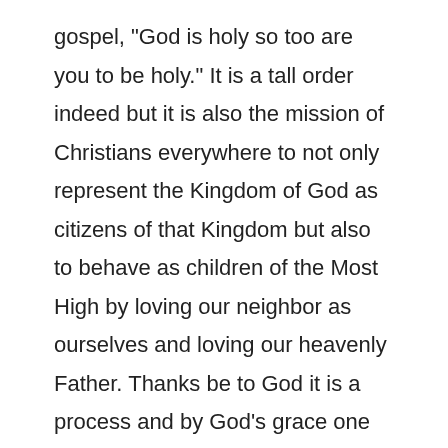gospel, "God is holy so too are you to be holy." It is a tall order indeed but it is also the mission of Christians everywhere to not only represent the Kingdom of God as citizens of that Kingdom but also to behave as children of the Most High by loving our neighbor as ourselves and loving our heavenly Father. Thanks be to God it is a process and by God's grace one that goes on throughout our life times. When we have lived that life, hopefully when we reach our heavenly mansion we will hear those blessed words, "Come, you that are blessed by my Father, inherit the Kingdom prepared for you from the foundation of the world